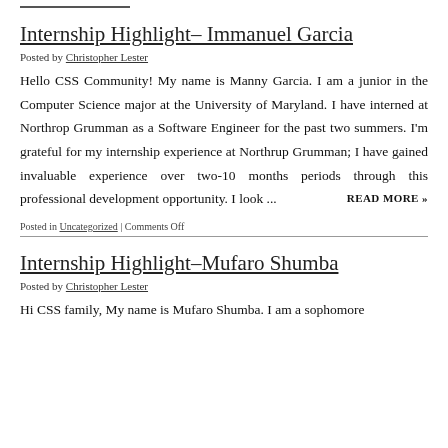Internship Highlight– Immanuel Garcia
Posted by Christopher Lester
Hello CSS Community! My name is Manny Garcia. I am a junior in the Computer Science major at the University of Maryland. I have interned at Northrop Grumman as a Software Engineer for the past two summers. I'm grateful for my internship experience at Northrup Grumman; I have gained invaluable experience over two-10 months periods through this professional development opportunity. I look ...
Posted in Uncategorized | Comments Off
Internship Highlight–Mufaro Shumba
Posted by Christopher Lester
Hi CSS family, My name is Mufaro Shumba. I am a sophomore